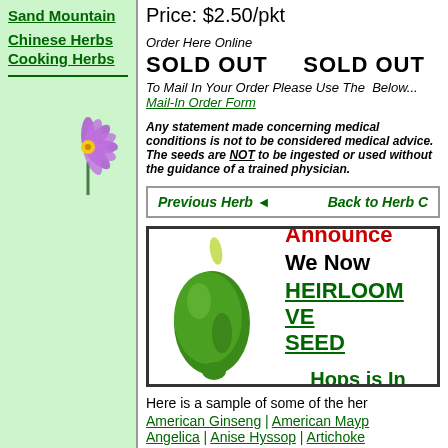Sand Mountain
Chinese Herbs
Cooking Herbs
[Figure (illustration): Purple flower illustration in sidebar]
Price: $2.50/pkt
Order Here Online
SOLD OUT    SOLD OUT
To Mail In Your Order Please Use The Below...
Mail-In Order Form
Any statement made concerning medical conditions is not to be considered medical advice. The seeds are NOT to be ingested or used without the guidance of a trained physician.
Previous Herb ◄    Back to Herb C
[Figure (photo): Green pepper photo in promotional banner]
Announce We Now HEIRLOOM VE SEED Hops is In
Here is a sample of some of the her American Ginseng | American Mayp Angelica | Anise Hyssop | Artichoke Avena